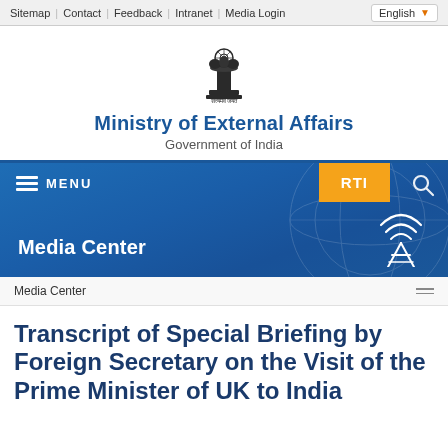Sitemap | Contact | Feedback | Intranet | Media Login  English
[Figure (logo): Indian Government emblem (Ashoka Pillar) with text 'Satyameva Jayate' below]
Ministry of External Affairs
Government of India
[Figure (screenshot): Blue navigation bar with hamburger menu and MENU label, RTI orange button, search icon, Media Center label, and broadcast tower icon]
Media Center
Transcript of Special Briefing by Foreign Secretary on the Visit of the Prime Minister of UK to India